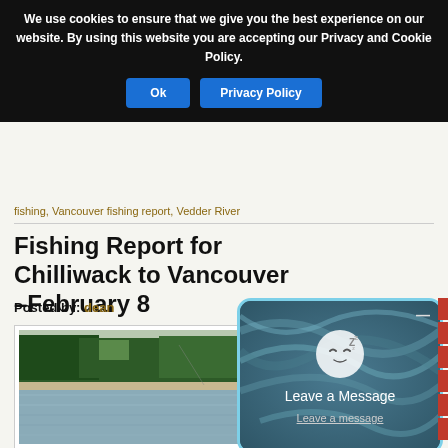We use cookies to ensure that we give you the best experience on our website. By using this website you are accepting our Privacy and Cookie Policy.
Ok | Privacy Policy
fishing, Vancouver fishing report, Vedder River
Fishing Report for Chilliwack to Vancouver –February 8...
Posted by: dean
[Figure (photo): River scene with trees along the bank and water in the foreground]
[Figure (screenshot): Leave a Message popup widget with sleeping moon icon, title 'Leave a Message', and 'Leave a message' link, overlaid on a teal swirling background]